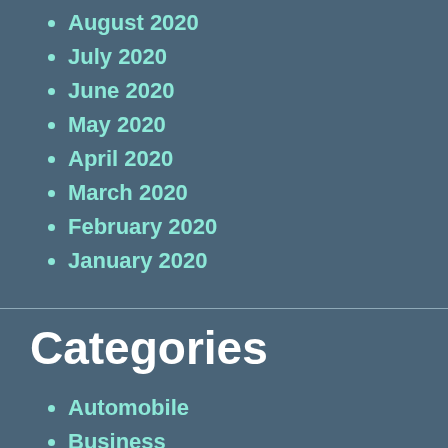August 2020
July 2020
June 2020
May 2020
April 2020
March 2020
February 2020
January 2020
Categories
Automobile
Business
Dental
Digital Marketing